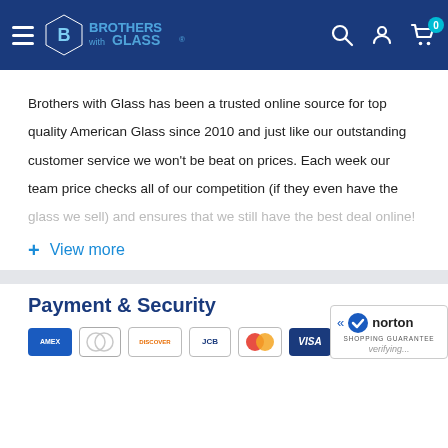[Figure (logo): Brothers with Glass website header with hamburger menu, logo, search icon, account icon, and cart icon with badge showing 0]
Brothers with Glass has been a trusted online source for top quality American Glass since 2010 and just like our outstanding customer service we won't be beat on prices. Each week our team price checks all of our competition (if they even have the glass we sell) and ensures that we still have the best deal online!
+ View more
Payment & Security
[Figure (logo): Norton Shopping Guarantee badge showing verifying...]
[Figure (other): Payment card icons: Amex, Diners Club, Discover, JCB, Mastercard, Visa]